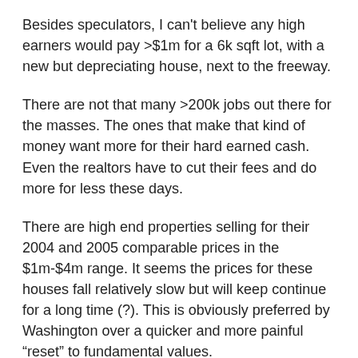Besides speculators, I can't believe any high earners would pay >$1m for a 6k sqft lot, with a new but depreciating house, next to the freeway.
There are not that many >200k jobs out there for the masses. The ones that make that kind of money want more for their hard earned cash. Even the realtors have to cut their fees and do more for less these days.
There are high end properties selling for their 2004 and 2005 comparable prices in the $1m-$4m range. It seems the prices for these houses fall relatively slow but will keep continue for a long time (?). This is obviously preferred by Washington over a quicker and more painful “reset” to fundamental values.
Construction (and materials in particular) are offered at significantly lower prices than 3-5 years ago